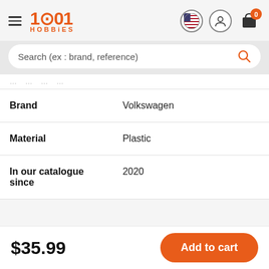1001 HOBBIES
Search (ex : brand, reference)
| Property | Value |
| --- | --- |
| Brand | Volkswagen |
| Material | Plastic |
| In our catalogue since | 2020 |
$35.99
Add to cart